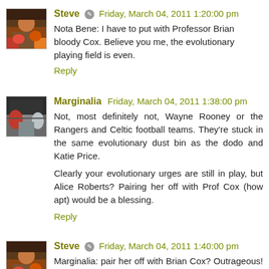Steve · Friday, March 04, 2011 1:20:00 pm
Nota Bene: I have to put with Professor Brian bloody Cox. Believe you me, the evolutionary playing field is even.
Reply
Marginalia · Friday, March 04, 2011 1:38:00 pm
Not, most definitely not, Wayne Rooney or the Rangers and Celtic football teams. They're stuck in the same evolutionary dust bin as the dodo and Katie Price.
Clearly your evolutionary urges are still in play, but Alice Roberts? Pairing her off with Prof Cox (how apt) would be a blessing.
Reply
Steve · Friday, March 04, 2011 1:40:00 pm
Marginalia: pair her off with Brian Cox? Outrageous! It would practically be incest! They are televisual brother and